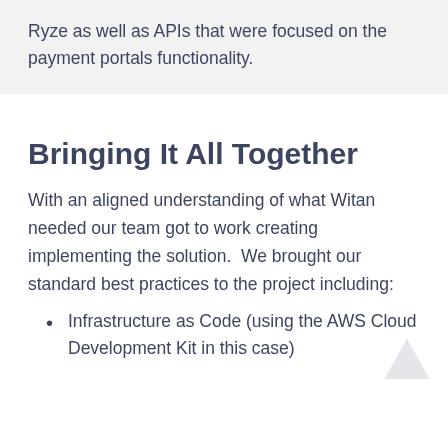Ryze as well as APIs that were focused on the payment portals functionality.
Bringing It All Together
With an aligned understanding of what Witan needed our team got to work creating implementing the solution.  We brought our standard best practices to the project including:
Infrastructure as Code (using the AWS Cloud Development Kit in this case)